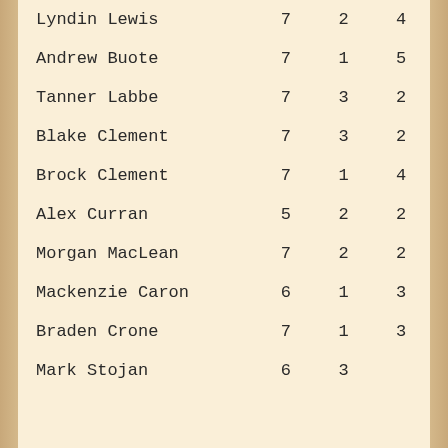| Name |  |  |  |
| --- | --- | --- | --- |
| Lyndin Lewis | 7 | 2 | 4 |
| Andrew Buote | 7 | 1 | 5 |
| Tanner Labbe | 7 | 3 | 2 |
| Blake Clement | 7 | 3 | 2 |
| Brock Clement | 7 | 1 | 4 |
| Alex Curran | 5 | 2 | 2 |
| Morgan MacLean | 7 | 2 | 2 |
| Mackenzie Caron | 6 | 1 | 3 |
| Braden Crone | 7 | 1 | 3 |
| Mark Stojan | 6 | 3 |  |